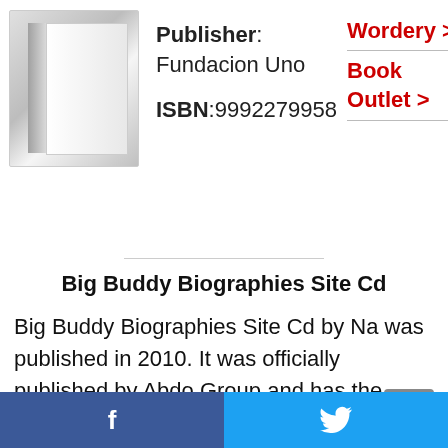[Figure (illustration): Book cover placeholder image with gray gradient and spine]
Publisher: Fundacion Uno
ISBN:9992279958
Wordery >
Book Outlet >
Big Buddy Biographies Site Cd
Big Buddy Biographies Site Cd by Na was published in 2010. It was officially published by Abdo Group and has the ISBN: 1616132493.
f  [twitter bird icon]